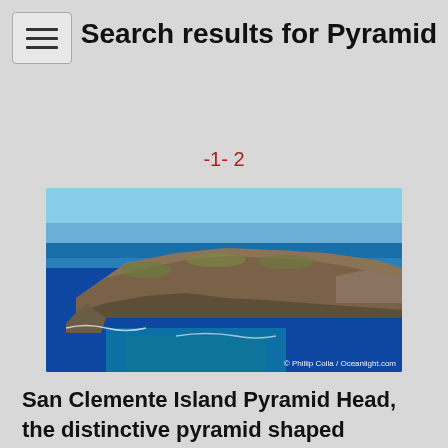Search results for Pyramid
-1- 2
[Figure (photo): Aerial photograph of San Clemente Island Pyramid Head, showing the distinctive pyramid-shaped southern end of the island surrounded by blue ocean water. Photo credit: © Phillip Colla / Oceanlight.com]
San Clemente Island Pyramid Head, the distinctive pyramid shaped southern end of the